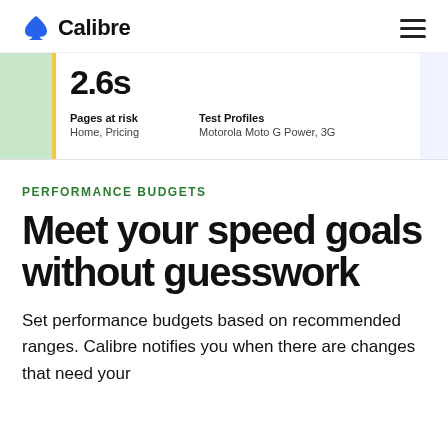Calibre
[Figure (screenshot): Dashboard card snippet showing a metric value of 2.6s, Pages at risk: Home, Pricing, and Test Profiles: Motorola Moto G Power, 3G]
PERFORMANCE BUDGETS
Meet your speed goals without guesswork
Set performance budgets based on recommended ranges. Calibre notifies you when there are changes that need your